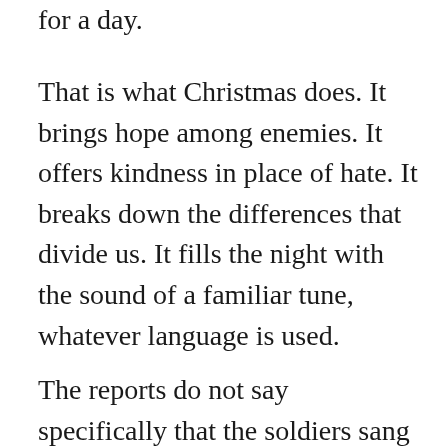for a day.
That is what Christmas does. It brings hope among enemies. It offers kindness in place of hate. It breaks down the differences that divide us. It fills the night with the sound of a familiar tune, whatever language is used.
The reports do not say specifically that the soldiers sang Silent Night,